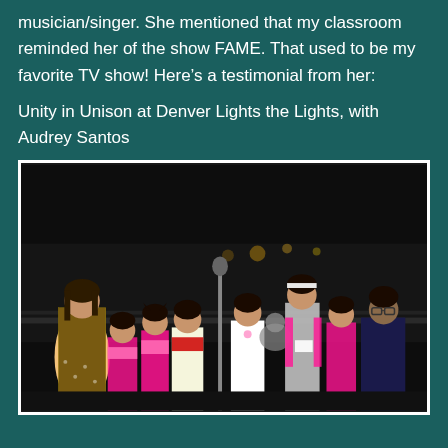musician/singer. She mentioned that my classroom reminded her of the show FAME. That used to be my favorite TV show! Here's a testimonial from her:
Unity in Unison at Denver Lights the Lights, with Audrey Santos
[Figure (photo): Group photo of a woman in a gold and black polka-dot dress standing with several children outdoors at night, at a Denver Lights the Lights event. Children are wearing pink scarves and festive accessories. A microphone stand is visible.]